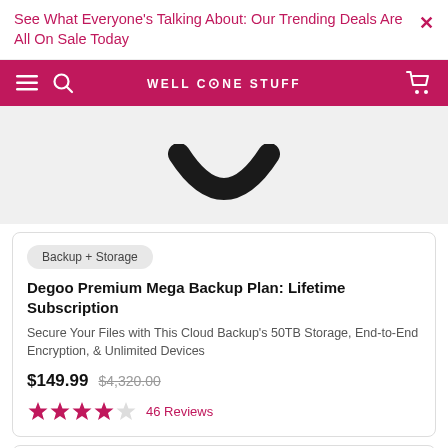See What Everyone's Talking About: Our Trending Deals Are All On Sale Today
WELL DONE STUFF
[Figure (photo): Product image showing bottom of a dark circular logo/icon on light gray background]
Backup + Storage
Degoo Premium Mega Backup Plan: Lifetime Subscription
Secure Your Files with This Cloud Backup's 50TB Storage, End-to-End Encryption, & Unlimited Devices
$149.99  $4,320.00
46 Reviews